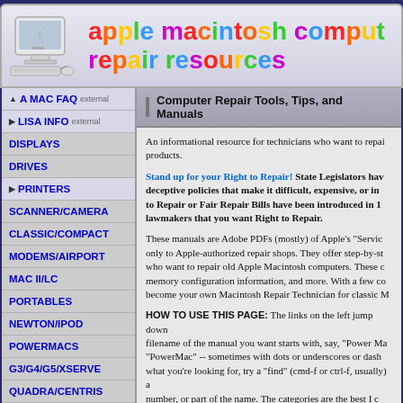apple macintosh computer repair resources
Computer Repair Tools, Tips, and Manuals
A MAC FAQ external
LISA INFO external
DISPLAYS
DRIVES
PRINTERS
SCANNER/CAMERA
CLASSIC/COMPACT
MODEMS/AIRPORT
MAC II/LC
PORTABLES
NEWTON/IPOD
POWERMACS
G3/G4/G5/XSERVE
QUADRA/CENTRIS
IMAC/EMAC/MINI
MISCELLANEOUS
LINKEDFILES
CHARTS
CLIPS
EMULATION
An informational resource for technicians who want to repair Apple products.
Stand up for your Right to Repair! State Legislators have introduced deceptive policies that make it difficult, expensive, or impossible... Right to Repair or Fair Repair Bills have been introduced in 19 states... lawmakers that you want Right to Repair.
These manuals are Adobe PDFs (mostly) of Apple's "Service Manuals" sold only to Apple-authorized repair shops. They offer step-by-step guides for those who want to repair old Apple Macintosh computers. These documents include memory configuration information, and more. With a few common tools, you can become your own Macintosh Repair Technician for classic Macs.
HOW TO USE THIS PAGE: The links on the left jump down to the section whose filename of the manual you want starts with, say, "Power Mac" it's listed under "PowerMac" -- sometimes with dots or underscores or dashes... If you can't find what you're looking for, try a "find" (cmd-f or ctrl-f, usually) and search by model number, or part of the name. The categories are the best I can do -- some fit one category but really belong in two -- for example, the combo units that are really Performa based on the same internal hardware. So if you h